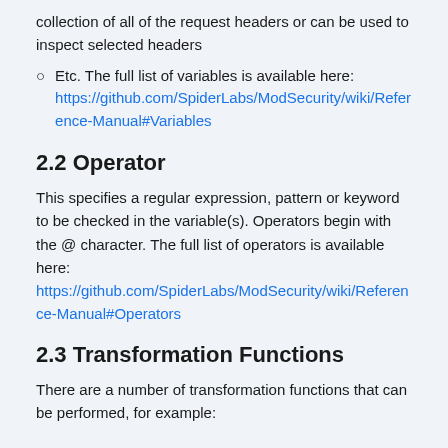collection of all of the request headers or can be used to inspect selected headers
Etc. The full list of variables is available here: https://github.com/SpiderLabs/ModSecurity/wiki/Reference-Manual#Variables
2.2 Operator
This specifies a regular expression, pattern or keyword to be checked in the variable(s). Operators begin with the @ character. The full list of operators is available here: https://github.com/SpiderLabs/ModSecurity/wiki/Reference-Manual#Operators
2.3 Transformation Functions
There are a number of transformation functions that can be performed, for example: